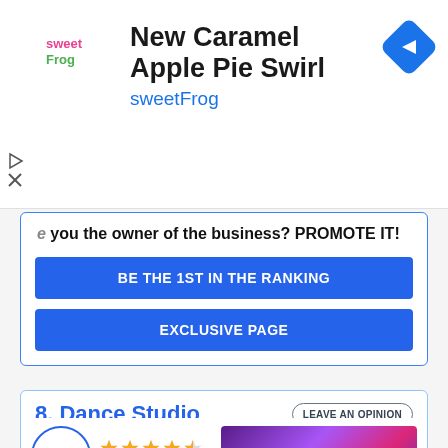[Figure (screenshot): sweetFrog advertisement banner with logo, title 'New Caramel Apple Pie Swirl', brand name 'sweetFrog', navigation icon, and play/close controls]
Are you the owner of the business? PROMOTE IT!
BE THE 1ST IN THE RANKING
EXCLUSIVE PAGE
8. Dance Studio
LEAVE AN OPINION
4.5
2 reviews
MORE PHOTOS
Location
4.5